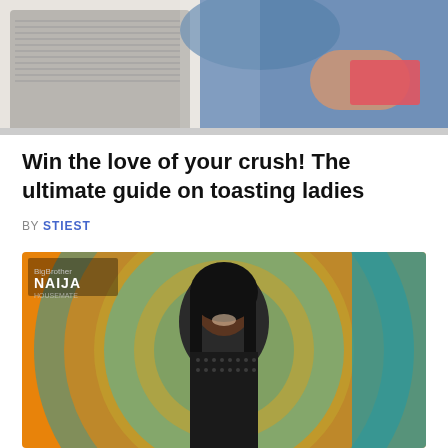[Figure (photo): Partial photo at top of page showing two people, one in a checkered/striped top and one in a blue outfit, shot from an angle with blurred background]
Win the love of your crush! The ultimate guide on toasting ladies
BY STIEST
[Figure (photo): Photo of a smiling young Black woman with long straight dark hair, wearing a black mesh/net top, posed in front of a circular gold and teal background. Text overlay reads 'BigBrother NAIJA' in the upper left corner.]